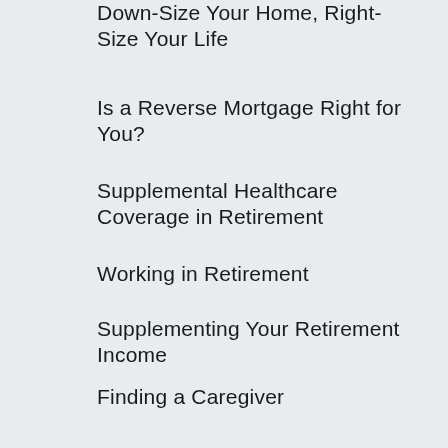Down-Size Your Home, Right-Size Your Life
Is a Reverse Mortgage Right for You?
Supplemental Healthcare Coverage in Retirement
Working in Retirement
Supplementing Your Retirement Income
Finding a Caregiver
Managing Your Retirement Funds
Don't Miss Out on Senior Discounts